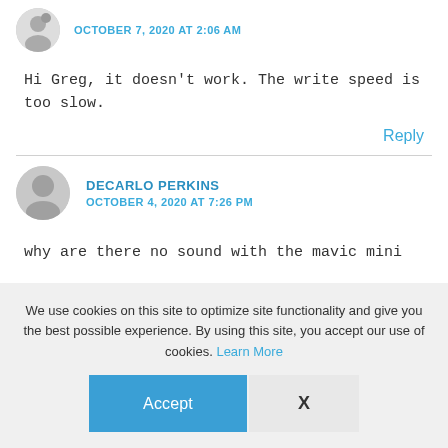OCTOBER 7, 2020 AT 2:06 AM
Hi Greg, it doesn't work. The write speed is too slow.
Reply
DECARLO PERKINS
OCTOBER 4, 2020 AT 7:26 PM
why are there no sound with the mavic mini
We use cookies on this site to optimize site functionality and give you the best possible experience. By using this site, you accept our use of cookies. Learn More